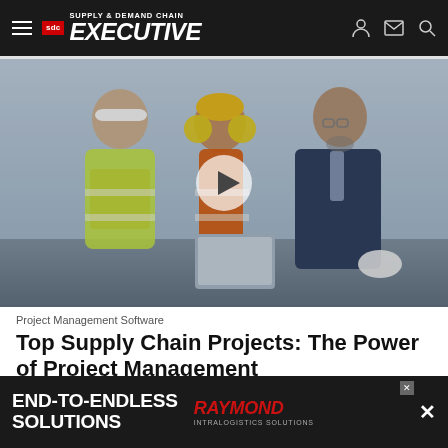SDC Supply & Demand Chain EXECUTIVE
[Figure (photo): Three construction/engineering workers — a man in a white hard hat and yellow vest, a woman in an orange vest and yellow hard hat with yellow ear protection, and a man in a business suit — looking at a tablet computer. A video play button overlay is centered on the image.]
Project Management Software
Top Supply Chain Projects: The Power of Project Management
Supply & Demand Chain Executive's year's Top Supply Chain Project winners partner with customers and